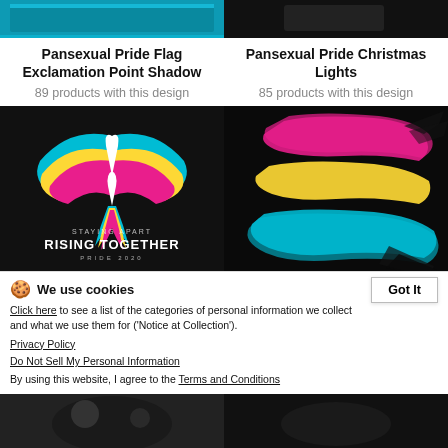[Figure (screenshot): Top portion of Pansexual Pride Flag Exclamation Point Shadow product image (teal/blue colors on black)]
[Figure (screenshot): Top portion of Pansexual Pride Christmas Lights product image (dark background)]
Pansexual Pride Flag Exclamation Point Shadow
89 products with this design
Pansexual Pride Christmas Lights
85 products with this design
[Figure (illustration): Phoenix bird with pansexual pride colors (pink, yellow, cyan) on black background with text STAYING APART RISING TOGETHER PRIDE 2020]
[Figure (illustration): Pansexual pride flag colors (pink, yellow, blue) brush stroke reveal design on black background]
Staying Apart Rising Together Pride
Pansexual Pride Flag Reveal
We use cookies
Click here to see a list of the categories of personal information we collect and what we use them for ('Notice at Collection').
Privacy Policy
Do Not Sell My Personal Information
By using this website, I agree to the Terms and Conditions
[Figure (screenshot): Bottom portion of product image, dark background]
[Figure (screenshot): Bottom portion of product image, very dark background]